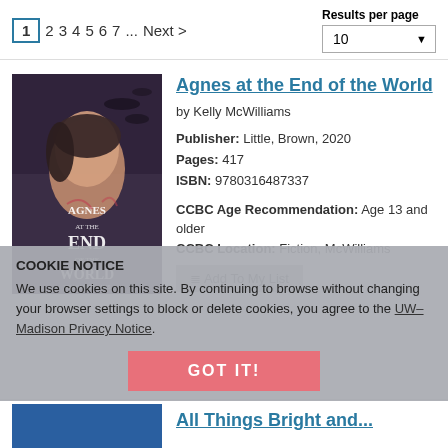Results per page
1 2 3 4 5 6 7 ... Next >
[Figure (photo): Book cover of 'Agnes at the End of the World' by Kelly McWilliams showing a young woman with birds]
Agnes at the End of the World
by Kelly McWilliams
Publisher: Little, Brown, 2020
Pages: 417
ISBN: 9780316487337
CCBC Age Recommendation: Age 13 and older
CCBC Location: Fiction, McWilliams
Add To My List
COOKIE NOTICE
We use cookies on this site. By continuing to browse without changing your browser settings to block or delete cookies, you agree to the UW–Madison Privacy Notice.
GOT IT!
All Things Bright and...